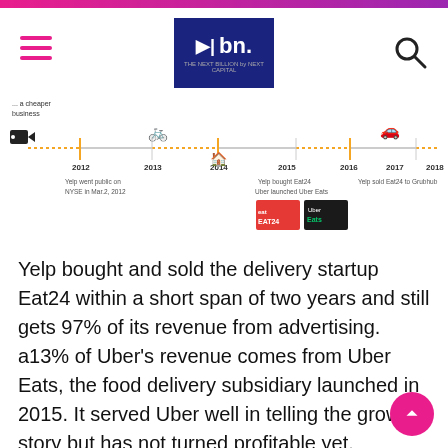bn. — The Next Billion by Next Capital
[Figure (infographic): Timeline showing Yelp business milestones from 2012 to 2018: Yelp went public on NYSE in Mar 2, 2012; 2013 icon (bike); 2014 icon (house); 2015: Yelp bought Eat24, Uber launched Uber Eats; 2016; 2017: Yelp sold Eat24 to Grubhub; 2018. Eat24 and Uber Eats logos shown.]
Yelp bought and sold the delivery startup Eat24 within a short span of two years and still gets 97% of its revenue from advertising. a13% of Uber's revenue comes from Uber Eats, the food delivery subsidiary launched in 2015. It served Uber well in telling the growth story but has not turned profitable yet.